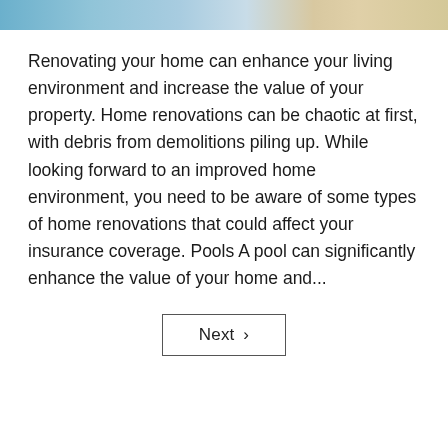[Figure (photo): Partial top of a photo showing a home renovation scene with tools and materials on a wooden surface, with blue and green tones visible.]
Renovating your home can enhance your living environment and increase the value of your property. Home renovations can be chaotic at first, with debris from demolitions piling up. While looking forward to an improved home environment, you need to be aware of some types of home renovations that could affect your insurance coverage. Pools A pool can significantly enhance the value of your home and...
Next ›